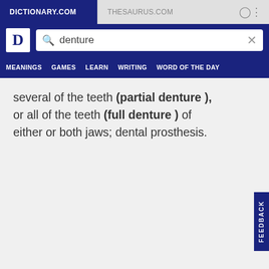[Figure (screenshot): Dictionary.com website header with tab bar showing DICTIONARY.COM and THESAURUS.COM tabs, search bar with 'denture' query, and navigation menu with MEANINGS, GAMES, LEARN, WRITING, WORD OF THE DAY]
several of the teeth (partial denture ), or all of the teeth (full denture ) of either or both jaws; dental prosthesis.
[Figure (screenshot): FEEDBACK vertical button on right side]